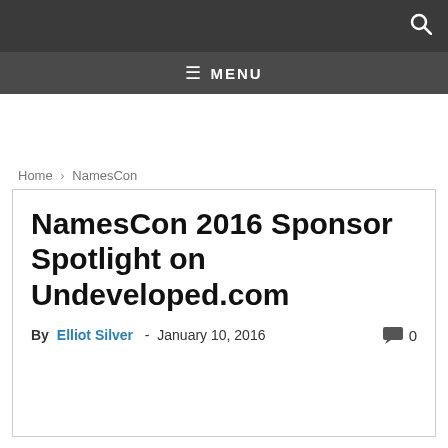MENU
Home › NamesCon
NamesCon 2016 Sponsor Spotlight on Undeveloped.com
By Elliot Silver - January 10, 2016   0